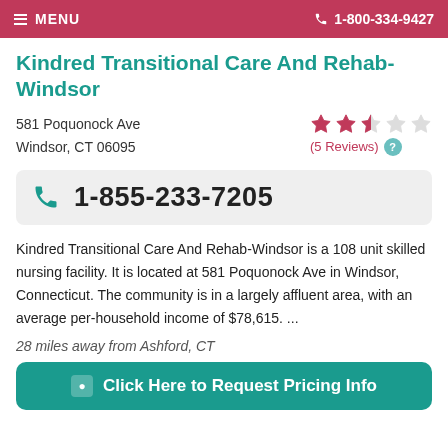MENU   1-800-334-9427
Kindred Transitional Care And Rehab-Windsor
581 Poquonock Ave
Windsor, CT 06095
(5 Reviews)
1-855-233-7205
Kindred Transitional Care And Rehab-Windsor is a 108 unit skilled nursing facility. It is located at 581 Poquonock Ave in Windsor, Connecticut. The community is in a largely affluent area, with an average per-household income of $78,615. ...
28 miles away from Ashford, CT
Click Here to Request Pricing Info